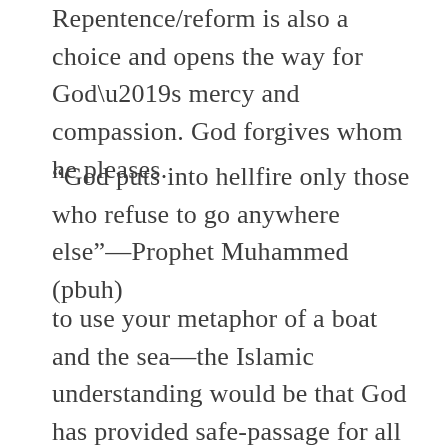Repentence/reform is also a choice and opens the way for God's mercy and compassion. God forgives whom he pleases.
“God puts into hellfire only those who refuse to go anywhere else”—Prophet Muhammed (pbuh)
to use your metaphor of a boat and the sea—the Islamic understanding would be that God has provided safe-passage for all of humanity—but some will refuse to take it and